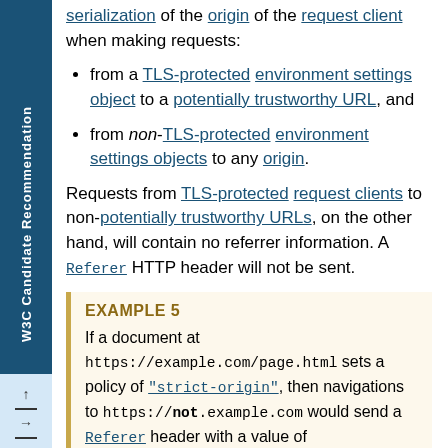serialization of the origin of the request client when making requests:
from a TLS-protected environment settings object to a potentially trustworthy URL, and
from non-TLS-protected environment settings objects to any origin.
Requests from TLS-protected request clients to non-potentially trustworthy URLs, on the other hand, will contain no referrer information. A Referer HTTP header will not be sent.
EXAMPLE 5
If a document at https://example.com/page.html sets a policy of "strict-origin", then navigations to https://not.example.com would send a Referer header with a value of https://example.com/